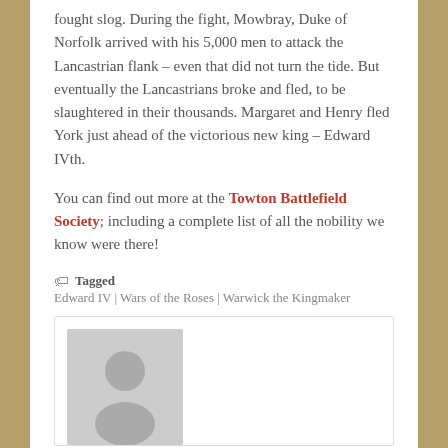fought slog. During the fight, Mowbray, Duke of Norfolk arrived with his 5,000 men to attack the Lancastrian flank – even that did not turn the tide. But eventually the Lancastrians broke and fled, to be slaughtered in their thousands. Margaret and Henry fled York just ahead of the victorious new king – Edward IVth.
You can find out more at the Towton Battlefield Society; including a complete list of all the nobility we know were there!
Tagged Edward IV | Wars of the Roses | Warwick the Kingmaker
[Figure (photo): A grey placeholder avatar image showing a generic person silhouette (head and shoulders) on a grey background, inside a bordered author box.]